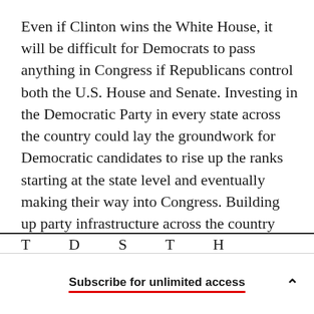Even if Clinton wins the White House, it will be difficult for Democrats to pass anything in Congress if Republicans control both the U.S. House and Senate. Investing in the Democratic Party in every state across the country could lay the groundwork for Democratic candidates to rise up the ranks starting at the state level and eventually making their way into Congress. Building up party infrastructure across the country could also help to advance a Democratic agenda at the state level, even if the strategy takes years to payoff.
Subscribe for unlimited access